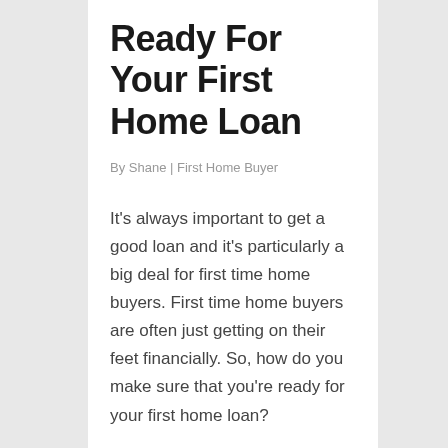Ready For Your First Home Loan
By Shane | First Home Buyer
It's always important to get a good loan and it's particularly a big deal for first time home buyers. First time home buyers are often just getting on their feet financially. So, how do you make sure that you're ready for your first home loan?
There are five questions to help you find out. These are questions that will